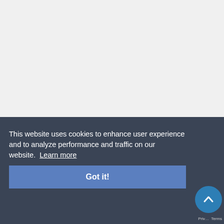[Figure (illustration): Book cover with dark/black background. Large red letters 'THE' partially visible at top. White bold text reads 'POWER OF THE VIETNAM PEACE MOVEMENT'. Large red 'NO' text overlaid across the center-bottom of the cover. 'Copyrighted Material' text at bottom.]
Movement-builders of today will want to take note of Hayden's thoughtful look back.
This website uses cookies to enhance user experience and to analyze performance and traffic on our website. Learn more
Got it!
Privacy Terms